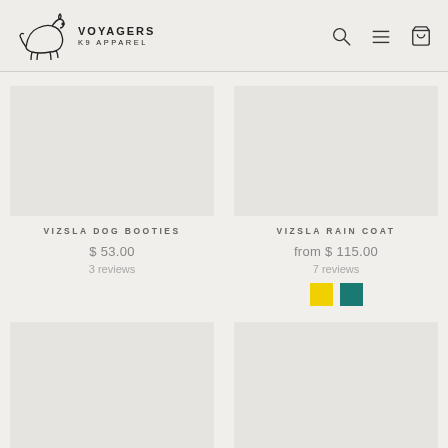VOYAGERS K9 APPAREL
VIZSLA DOG BOOTIES
$ 53.00
3 reviews
VIZSLA RAIN COAT
from $ 115.00
7 reviews
[Figure (other): Color swatches: yellow and teal]
VIZSLA ALL WEATHER COMBO
VIZSLA COLD CLIMATE COMBO